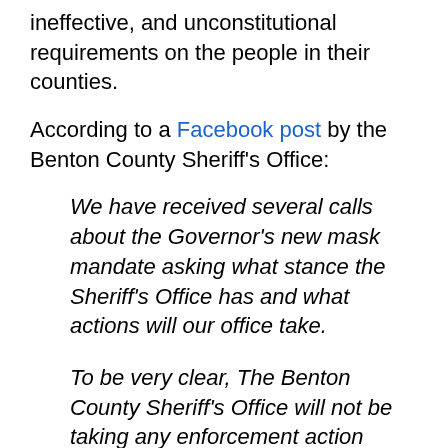ineffective, and unconstitutional requirements on the people in their counties.
According to a Facebook post by the Benton County Sheriff's Office:
We have received several calls about the Governor's new mask mandate asking what stance the Sheriff's Office has and what actions will our office take.
To be very clear, The Benton County Sheriff's Office will not be taking any enforcement action against any citizen, visitor, business, church, or any other individual, group or organization in any way for not following the Governor's mandate. This office encourages people to wear their